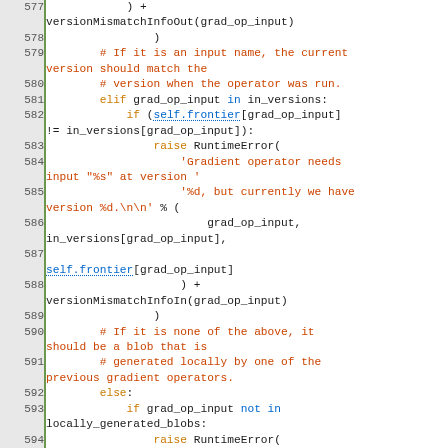[Figure (screenshot): Source code screenshot showing Python code lines 577-597, with syntax highlighting: orange keywords (elif, else, if, raise), blue keywords (in, not), blue dotted-underline references (self.frontier), and red/orange comments starting with #.]